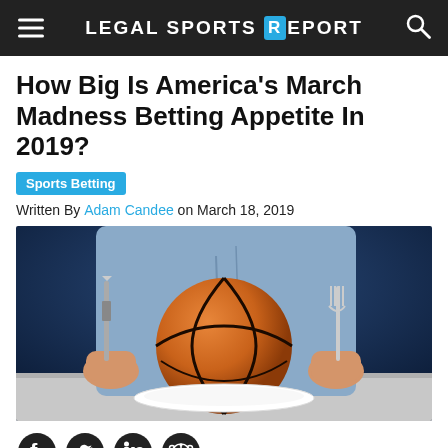LEGAL SPORTS REPORT
How Big Is America's March Madness Betting Appetite In 2019?
Sports Betting
Written By Adam Candee on March 18, 2019
[Figure (photo): Person holding knife and fork on either side of a basketball placed on a white plate, against a dark blue background, wearing a light blue shirt.]
[Figure (other): Social media sharing icons: Facebook, Twitter, LinkedIn, Reddit]